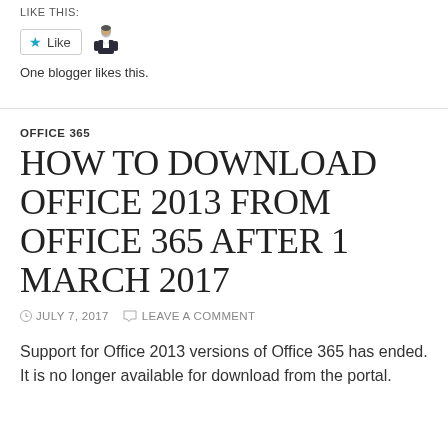LIKE THIS:
[Figure (other): Like button widget with star icon and a blogger avatar thumbnail. Text below reads: One blogger likes this.]
One blogger likes this.
OFFICE 365
HOW TO DOWNLOAD OFFICE 2013 FROM OFFICE 365 AFTER 1 MARCH 2017
JULY 7, 2017   LEAVE A COMMENT
Support for Office 2013 versions of Office 365 has ended. It is no longer available for download from the portal.